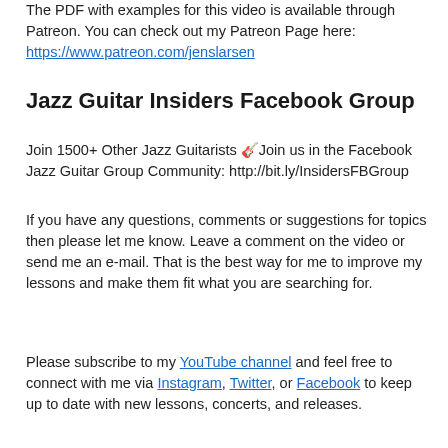The PDF with examples for this video is available through Patreon. You can check out my Patreon Page here: https://www.patreon.com/jenslarsen
Jazz Guitar Insiders Facebook Group
Join 1500+ Other Jazz Guitarists 🎸Join us in the Facebook Jazz Guitar Group Community: http://bit.ly/InsidersFBGroup
If you have any questions, comments or suggestions for topics then please let me know. Leave a comment on the video or send me an e-mail. That is the best way for me to improve my lessons and make them fit what you are searching for.
Please subscribe to my YouTube channel and feel free to connect with me via Instagram, Twitter, or Facebook to keep up to date with new lessons, concerts, and releases.